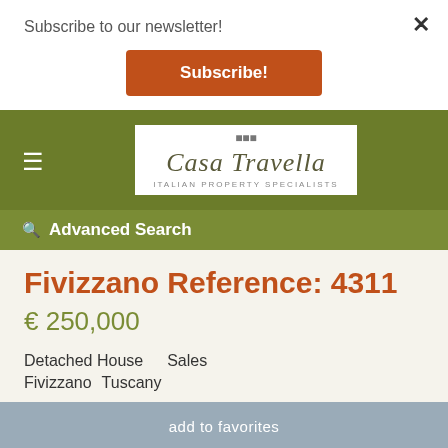Subscribe to our newsletter!
Subscribe!
×
Casa Travella — Italian Property Specialists
Advanced Search
Fivizzano Reference: 4311
€ 250,000
Detached House    Sales
Fivizzano  Tuscany
add to favorites